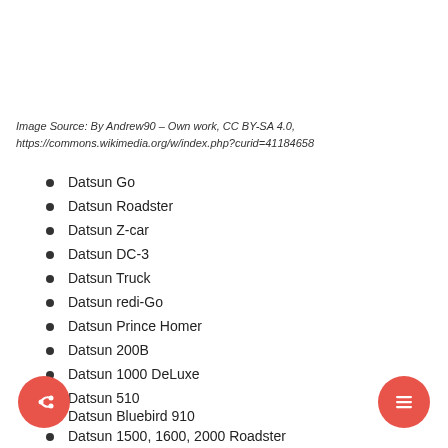Image Source: By Andrew90 – Own work, CC BY-SA 4.0, https://commons.wikimedia.org/w/index.php?curid=41184658
Datsun Go
Datsun Roadster
Datsun Z-car
Datsun DC-3
Datsun Truck
Datsun redi-Go
Datsun Prince Homer
Datsun 200B
Datsun 1000 DeLuxe
Datsun 510
Datsun Bluebird 910
Datsun 1500, 1600, 2000 Roadster